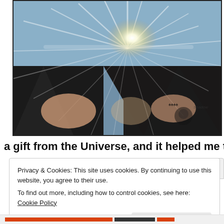[Figure (photo): A person holding open a dark fabric or book revealing a bright sunburst of light radiating from the center. The person's hands show tattoos. The image has a dramatic high-contrast light effect.]
a gift from the Universe, and it helped me through that
Privacy & Cookies: This site uses cookies. By continuing to use this website, you agree to their use.
To find out more, including how to control cookies, see here: Cookie Policy